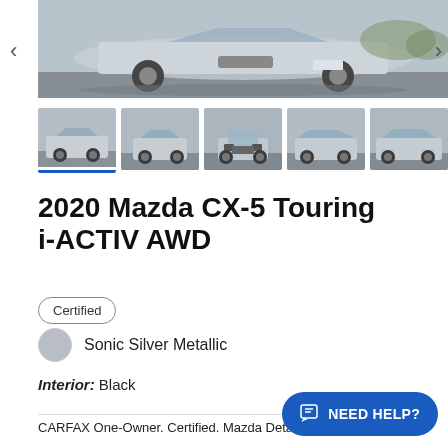[Figure (photo): Main large photo of a 2020 Mazda CX-5 in Sonic Silver Metallic color, front 3/4 view, parked outdoors. Navigation arrows on left and right sides.]
[Figure (photo): Row of 5 thumbnail photos of the 2020 Mazda CX-5 from various angles. First thumbnail is selected (highlighted with blue underline).]
2020 Mazda CX-5 Touring i-ACTIV AWD
Certified
Sonic Silver Metallic
Interior: Black
CARFAX One-Owner. Certified. Mazda Details: